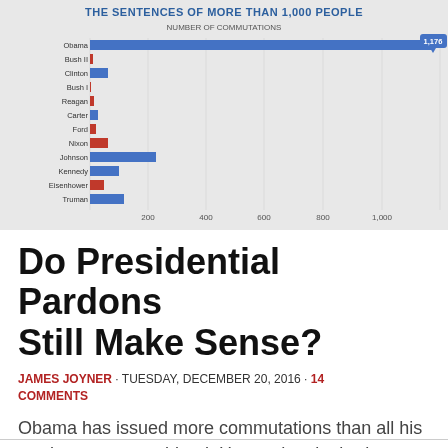[Figure (bar-chart): THE SENTENCES OF MORE THAN 1,000 PEOPLE]
Do Presidential Pardons Still Make Sense?
JAMES JOYNER · TUESDAY, DECEMBER 20, 2016 · 14 COMMENTS
Obama has issued more commutations than all his predecessors combined. He set the single-day record Monday.